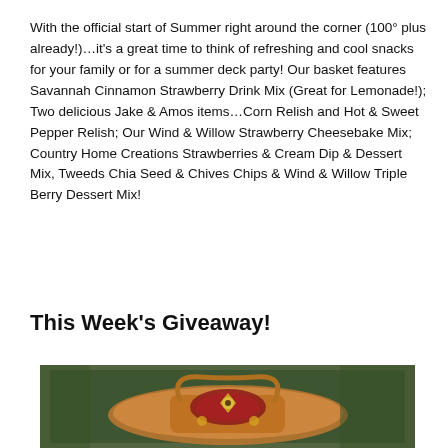With the official start of Summer right around the corner (100° plus already!)…it's a great time to think of refreshing and cool snacks for your family or for a summer deck party! Our basket features Savannah Cinnamon Strawberry Drink Mix (Great for Lemonade!); Two delicious Jake & Amos items…Corn Relish and Hot & Sweet Pepper Relish; Our Wind & Willow Strawberry Cheesebake Mix; Country Home Creations Strawberries & Cream Dip & Dessert Mix, Tweeds Chia Seed & Chives Chips & Wind & Willow Triple Berry Dessert Mix!
This Week's Giveaway!
[Figure (photo): A gift basket photographed from above on a dark green background, showing decorative items including what appears to be a colorful patterned top of a basket with orange, red, and dark decorative elements.]